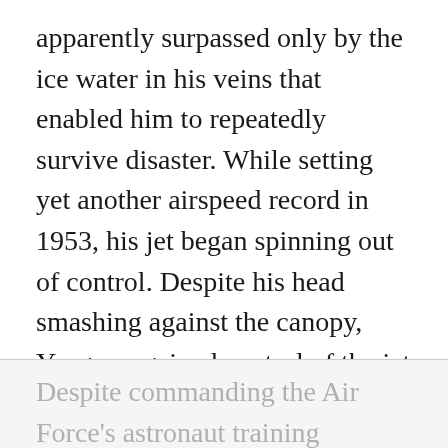apparently surpassed only by the ice water in his veins that enabled him to repeatedly survive disaster. While setting yet another airspeed record in 1953, his jet began spinning out of control. Despite his head smashing against the canopy, Yeager regained control of the jet and landed safely, because of course he did. By this point, even physics itself had learned not to mess with Chuck Yeager. Yeager went on to multiple command billets within the Air Force.
Despite commanding the Air Force's astronaut training program, Yeager...